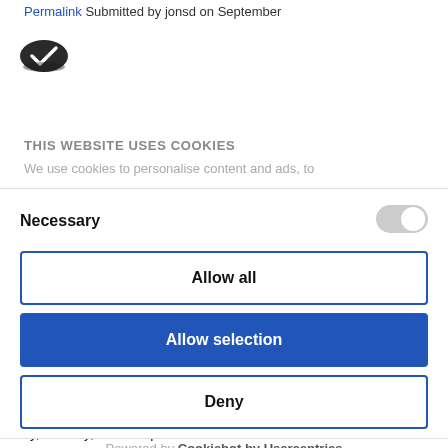Permalink Submitted by jonsd on September
[Figure (logo): Cookiebot cookie icon - dark oval badge with checkmark]
THIS WEBSITE USES COOKIES
We use cookies to personalise content and ads, to
Necessary
[Figure (other): Toggle switch in off/grey state]
Allow all
Allow selection
Deny
Powered by Cookiebot by Usercentrics
way, actually, I'd have provided an honour